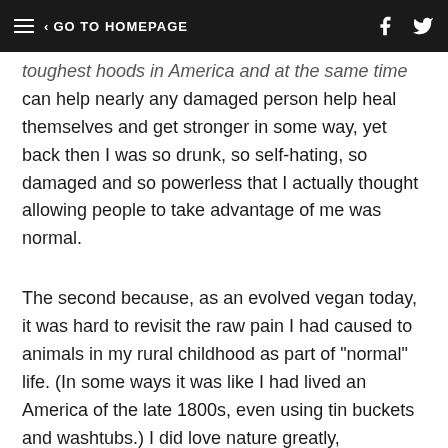GO TO HOMEPAGE
toughest hoods in America and at the same time can help nearly any damaged person help heal themselves and get stronger in some way, yet back then I was so drunk, so self-hating, so damaged and so powerless that I actually thought allowing people to take advantage of me was normal.
The second because, as an evolved vegan today, it was hard to revisit the raw pain I had caused to animals in my rural childhood as part of "normal" life. (In some ways it was like I had lived an America of the late 1800s, even using tin buckets and washtubs.) I did love nature greatly,